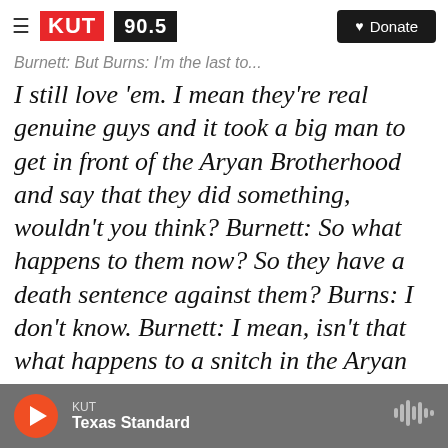[Figure (logo): KUT 90.5 radio station logo with hamburger menu and Donate button]
Burnett: But Burns: I'm the last to...
I still love 'em. I mean they're real genuine guys and it took a big man to get in front of the Aryan Brotherhood and say that they did something, wouldn't you think? Burnett: So what happens to them now? So they have a death sentence against them? Burns: I don't know. Burnett: I mean, isn't that what happens to a snitch in the Aryan Brotherhood? Burns: I don't know
[Figure (screenshot): Audio player bar showing KUT Texas Standard podcast player with play button, station name, show name, and waveform icon]